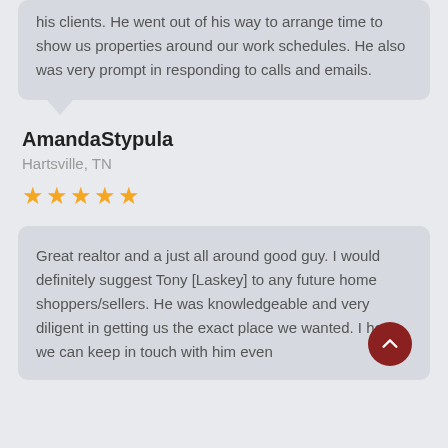his clients. He went out of his way to arrange time to show us properties around our work schedules. He also was very prompt in responding to calls and emails.
AmandaStypula
Hartsville, TN
[Figure (other): Five gold star rating]
Great realtor and a just all around good guy. I would definitely suggest Tony [Laskey] to any future home shoppers/sellers. He was knowledgeable and very diligent in getting us the exact place we wanted. I hope we can keep in touch with him even